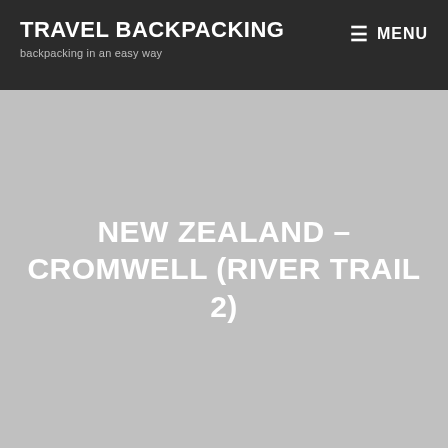TRAVEL BACKPACKING
backpacking in an easy way
NEW ZEALAND – CROMWELL (RIVER TRAIL 2)